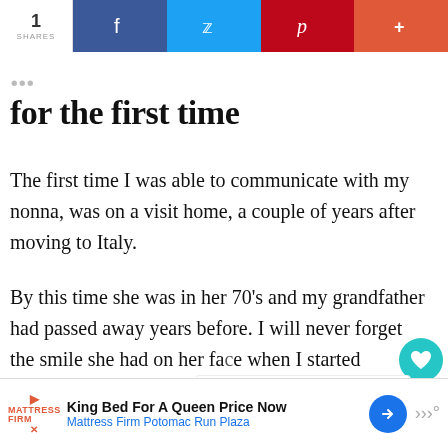[Figure (screenshot): Social media share bar with count '1 SHARES', Facebook, Twitter, Pinterest, and more (+) buttons]
for the first time
The first time I was able to communicate with my nonna, was on a visit home, a couple of years after moving to Italy.
By this time she was in her 70’s and my grandfather had passed away years before. I will never forget the smile she had on her face when I started speaking to her in Italian. She certainly didn’t expect it, it was such a surprise for her.
[Figure (infographic): WHAT'S NEXT arrow with Simultaneous Bilingualism... article thumbnail]
[Figure (screenshot): Advertisement bar: King Bed For A Queen Price Now - Mattress Firm Potomac Run Plaza]